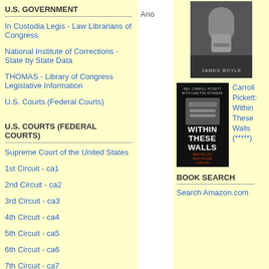U.S. GOVERNMENT
In Custodia Legis - Law Librarians of Congress
National Institute of Corrections - State by State Data
THOMAS - Library of Congress Legislative Information
U.S. Courts (Federal Courts)
U.S. COURTS (FEDERAL COURTS)
Supreme Court of the United States
1st Circuit - ca1
2nd Circuit - ca2
3rd Circuit - ca3
4th Circuit - ca4
5th Circuit - ca5
6th Circuit - ca6
7th Circuit - ca7
8th Circuit - ca8
Ano
[Figure (photo): Grayscale close-up portrait photo with JAMES BOYLE text at bottom]
[Figure (photo): Book cover: Within These Walls - Memoirs of a Death House Chaplain by Rev. Carroll Pickett with Carlton Stowers]
Carroll Pickett: Within These Walls (*****)
BOOK SEARCH
Search Amazon.com